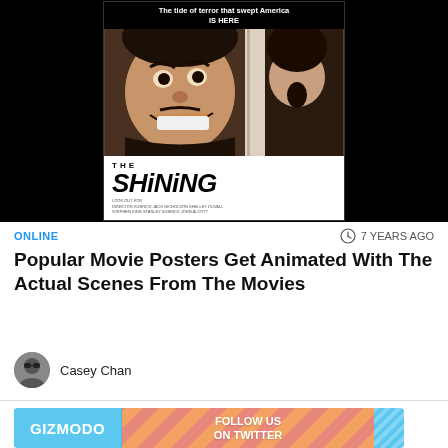[Figure (photo): Movie poster for The Shining. Black background with the poster centered. Poster shows Jack Nicholson grinning through a broken door with a screaming woman behind him. Top text reads 'The tide of terror that swept America IS HERE'. Bottom white section shows 'THE SHINING' in large bold italic letters with production credits below.]
ONLINE
7 YEARS AGO
Popular Movie Posters Get Animated With The Actual Scenes From The Movies
Casey Chan
[Figure (logo): Gizmodo banner ad with light blue background on left showing GIZMODO in white bold text, and a diagonal stripe pattern in orange/salmon on the right side with text FOLLOW US ON TWITTER in white bold text.]